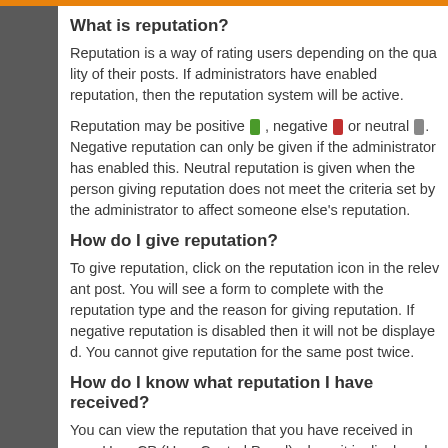What is reputation?
Reputation is a way of rating users depending on the quality of their posts. If administrators have enabled reputation, then the reputation system will be active.
Reputation may be positive [green icon], negative [red icon] or neutral [gray icon]. Negative reputation can only be given if the administrator has enabled this. Neutral reputation is given when the person giving reputation does not meet the criteria set by the administrator to affect someone else's reputation.
How do I give reputation?
To give reputation, click on the reputation icon in the relevant post. You will see a form to complete with the reputation type and the reason for giving reputation. If negative reputation is disabled then it will not be displayed. You cannot give reputation for the same post twice.
How do I know what reputation I have received?
You can view the reputation that you have received in your User CP (User Control Panel) where it is displayed at the bottom of the User CP main page. It will show the latest reputation that you have received and whether this is positive, negative or neutral. Your total reputation will be shown as series of reputation icons next to your name and profile. The more positive your reputation, the more positive icons will be shown. The more negative your reputation the more negative icons will be shown.